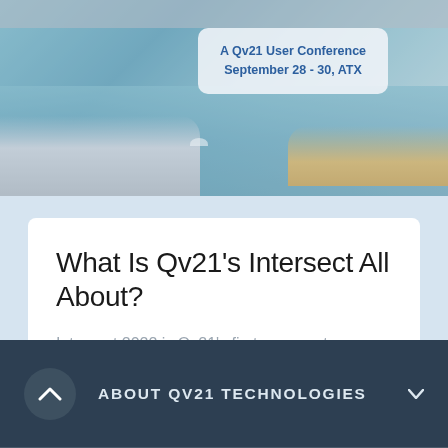[Figure (photo): Aerial/waterfront cityscape photo showing a river with a bridge, roads, and water. Austin, TX skyline area.]
A Qv21 User Conference
September 28 - 30, ATX
What Is Qv21's Intersect All About?
Intersect 2022 is Qv21’s first-ever customer conference focused on industry experts leading…
ABOUT QV21 TECHNOLOGIES